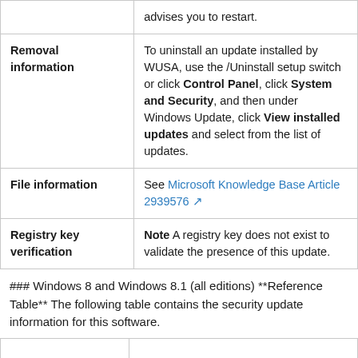|  | advises you to restart. |
| Removal information | To uninstall an update installed by WUSA, use the /Uninstall setup switch or click Control Panel, click System and Security, and then under Windows Update, click View installed updates and select from the list of updates. |
| File information | See Microsoft Knowledge Base Article 2939576 |
| Registry key verification | Note A registry key does not exist to validate the presence of this update. |
### Windows 8 and Windows 8.1 (all editions) **Reference Table** The following table contains the security update information for this software.
|  |  |